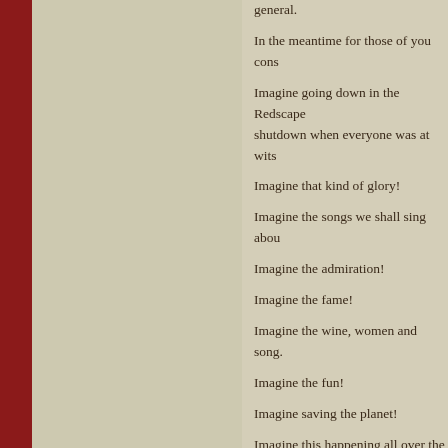general.
In the meantime for those of you cons
Imagine going down in the Redscape shutdown when everyone was at wits
Imagine that kind of glory!
Imagine the songs we shall sing abou
Imagine the admiration!
Imagine the fame!
Imagine the wine, women and song.
Imagine the fun!
Imagine saving the planet!
Imagine this happening all over the w
https://www.youtube.com/watch?v=0b
MAKE IT SO!